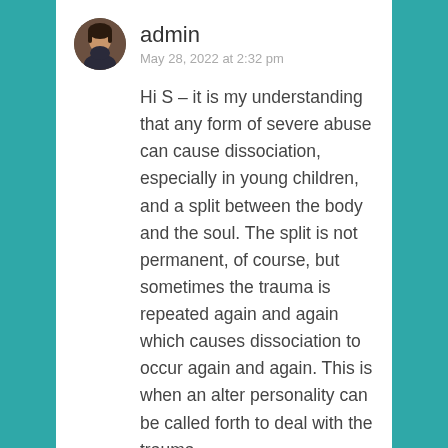admin
May 28, 2022 at 2:32 pm
Hi S – it is my understanding that any form of severe abuse can cause dissociation, especially in young children, and a split between the body and the soul. The split is not permanent, of course, but sometimes the trauma is repeated again and again which causes dissociation to occur again and again. This is when an alter personality can be called forth to deal with the trauma